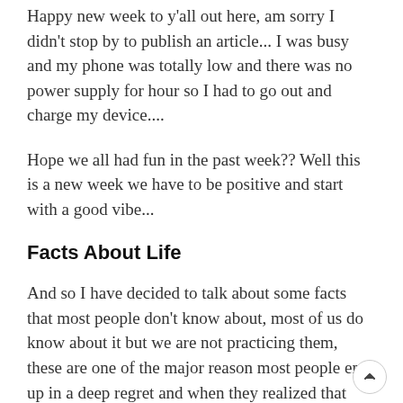Happy new week to y'all out here, am sorry I didn't stop by to publish an article... I was busy and my phone was totally low and there was no power supply for hour so I had to go out and charge my device....
Hope we all had fun in the past week?? Well this is a new week we have to be positive and start with a good vibe...
Facts About Life
And so I have decided to talk about some facts that most people don't know about, most of us do know about it but we are not practicing them, these are one of the major reason most people end up in a deep regret and when they realized that they have messed up it might be too late for them....